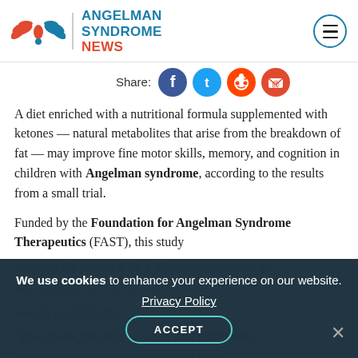Angelman Syndrome News
[Figure (logo): Angelman Syndrome News logo with stylized bird/wings in red and teal, beside the text 'ANGELMAN SYNDROME NEWS']
[Figure (infographic): Social share bar with Facebook, Twitter, Reddit, and Email icons]
A diet enriched with a nutritional formula supplemented with ketones — natural metabolites that arise from the breakdown of fat — may improve fine motor skills, memory, and cognition in children with Angelman syndrome, according to the results from a small trial.
Funded by the Foundation for Angelman Syndrome Therapeutics (FAST), this study supports the potential for a dietary intervention to help manage this rare genetic neurological disorder.
"The results from this study safety and tolerability study are promising for individuals with..."
We use cookies to enhance your experience on our website. Privacy Policy ACCEPT